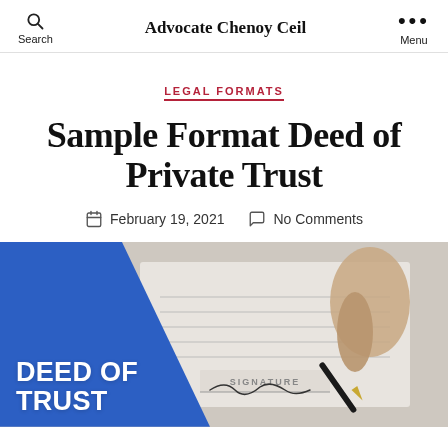Advocate Chenoy Ceil
LEGAL FORMATS
Sample Format Deed of Private Trust
February 19, 2021  No Comments
[Figure (photo): A hand holding a pen signing a document with a 'SIGNATURE' line, overlaid with a blue diagonal banner reading 'DEED OF TRUST']